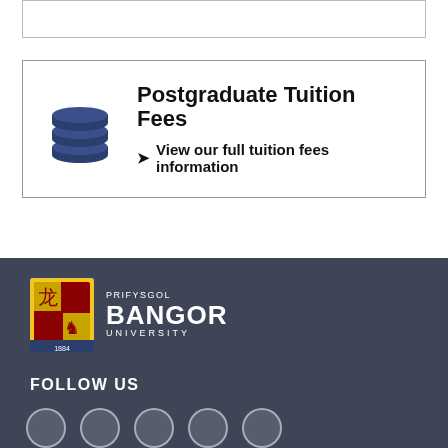[Figure (other): Top border box (partial/cut off)]
[Figure (infographic): Postgraduate Tuition Fees box with coins icon, title 'Postgraduate Tuition Fees', and link 'View our full tuition fees information']
[Figure (logo): Bangor University footer with logo (PRIFYSGOL BANGOR UNIVERSITY crest), FOLLOW US label, and social media circle icons]